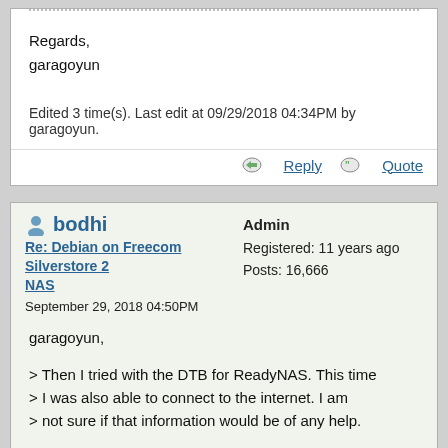Regards,
garagoyun
Edited 3 time(s). Last edit at 09/29/2018 04:34PM by garagoyun.
Reply   Quote
bodhi
Re: Debian on Freecom Silverstore 2 NAS
September 29, 2018 04:50PM
Admin
Registered: 11 years ago
Posts: 16,666
garagoyun,

> Then I tried with the DTB for ReadyNAS. This time
> I was also able to connect to the internet. I am
> not sure if that information would be of any help.

Definitely. The GPL does not have any special patch